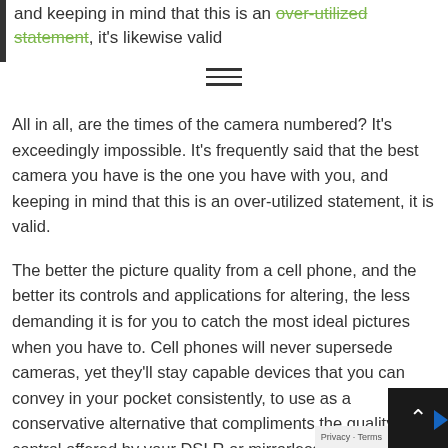and keeping in mind that this is an over-utilized statement, it's likewise valid
All in all, are the times of the camera numbered? It's exceedingly impossible. It's frequently said that the best camera you have is the one you have with you, and keeping in mind that this is an over-utilized statement, it is valid.
The better the picture quality from a cell phone, and the better its controls and applications for altering, the less demanding it is for you to catch the most ideal pictures when you have to. Cell phones will never supersede cameras, yet they'll stay capable devices that you can convey in your pocket consistently, to use as a conservative alternative that compliments the quality and control offered by your DSLR or mirrorless camera.